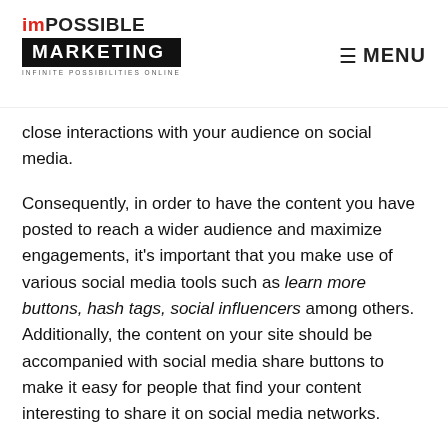imPOSSIBLE MARKETING — INFINITE POSSIBILITIES ONLINE | MENU
close interactions with your audience on social media.
Consequently, in order to have the content you have posted to reach a wider audience and maximize engagements, it's important that you make use of various social media tools such as learn more buttons, hash tags, social influencers among others. Additionally, the content on your site should be accompanied with social media share buttons to make it easy for people that find your content interesting to share it on social media networks.
Maximising your social profile and dis…